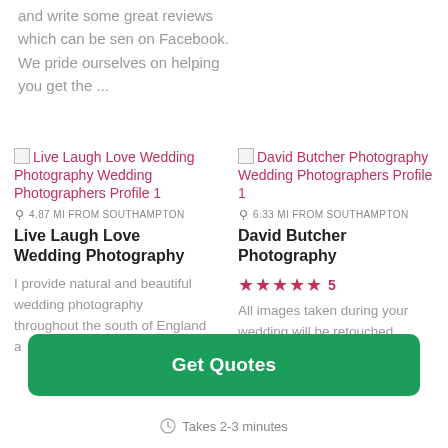and write some great reviews which can be sen on Facebook. We pride ourselves on helping you get the ...
[Figure (illustration): Broken image placeholder for Live Laugh Love Wedding Photography Wedding Photographers Profile 1]
Live Laugh Love Wedding Photography Wedding Photographers Profile 1
4.87 MI FROM SOUTHAMPTON
Live Laugh Love Wedding Photography
I provide natural and beautiful wedding photography throughout the south of England a...
[Figure (illustration): Broken image placeholder for David Butcher Photography Wedding Photographers Profile 1]
David Butcher Photography Wedding Photographers Profile 1
6.33 MI FROM SOUTHAMPTON
David Butcher Photography
★★★★★  5
All images taken during your wedding will be retouched
Get Quotes
Takes 2-3 minutes